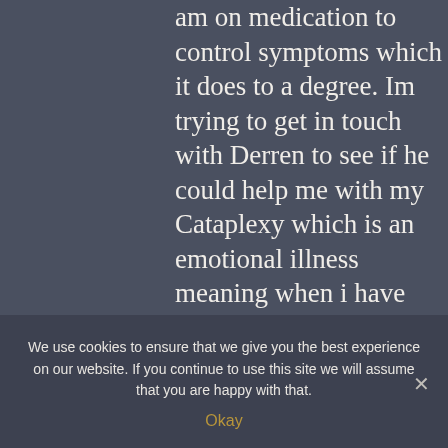am on medication to control symptoms which it does to a degree. Im trying to get in touch with Derren to see if he could help me with my Cataplexy which is an emotional illness meaning when i have strong emotions of any kind it causes my body to shut down causing me to
We use cookies to ensure that we give you the best experience on our website. If you continue to use this site we will assume that you are happy with that.
Okay